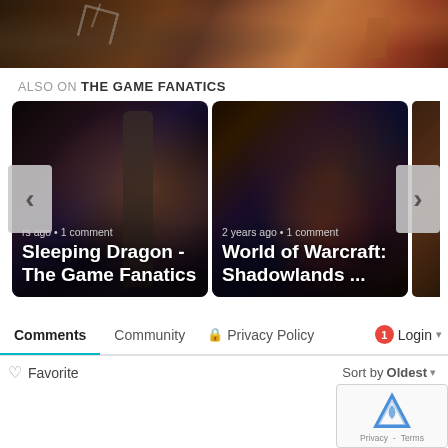[Figure (photo): Top banner image showing game characters in dark moody colors]
ALSO ON THE GAME FANATICS
[Figure (photo): Card 1: Sleeping Dragon - The Game Fanatics, years ago, 1 comment]
[Figure (photo): Card 2: World of Warcraft: Shadowlands ..., 2 years ago, 1 comment]
Comments  Community  Privacy Policy  1  Login
Favorite  Sort by Oldest
[Figure (other): reCAPTCHA widget with Privacy and Terms links]